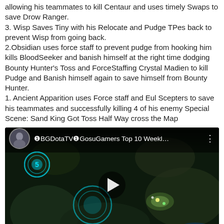allowing his teammates to kill Centaur and uses timely Swaps to save Drow Ranger.
3. Wisp Saves Tiny with his Relocate and Pudge TPes back to prevent Wisp from going back.
2.Obsidian uses force staff to prevent pudge from hooking him kills BloodSeeker and banish himself at the right time dodging Bounty Hunter's Toss and ForceStaffing Crystal Madien to kill Pudge and Banish himself again to save himself from Bounty Hunter.
1. Ancient Apparition uses Force staff and Eul Scepters to save his teammates and successfully killing 4 of his enemy Special Scene: Sand King Got Toss Half Way cross the Map
[Figure (screenshot): YouTube/video player thumbnail showing a Dota 2 gameplay scene (top-down map view with glowing abilities), with a circular avatar, video title '❶BGDotaTV❶GosuGamers Top 10 Weekl…', a number 5 badge on the left, and a play button in the center.]